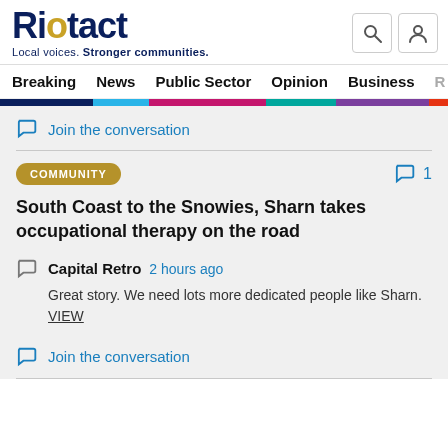Riotact — Local voices. Stronger communities.
Breaking  News  Public Sector  Opinion  Business  R
Join the conversation
COMMUNITY
1
South Coast to the Snowies, Sharn takes occupational therapy on the road
Capital Retro  2 hours ago
Great story. We need lots more dedicated people like Sharn. VIEW
Join the conversation